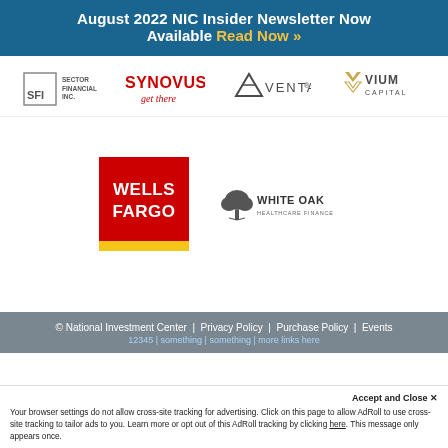August 2022 NIC Insider Newsletter Now Available Read Now »
[Figure (logo): Sector Financial Inc. (SFI) logo]
[Figure (logo): Synovus get there logo]
[Figure (logo): Ventas logo]
[Figure (logo): Vium Capital logo]
[Figure (logo): Wells Fargo logo - red square with yellow stripe]
[Figure (logo): White Oak Healthcare Finance logo]
© National Investment Center | Privacy Policy | Purchase Policy | Events
Accept and Close ✕ Your browser settings do not allow cross-site tracking for advertising. Click on this page to allow AdRoll to use cross-site tracking to tailor ads to you. Learn more or opt out of this AdRoll tracking by clicking here. This message only appears once.